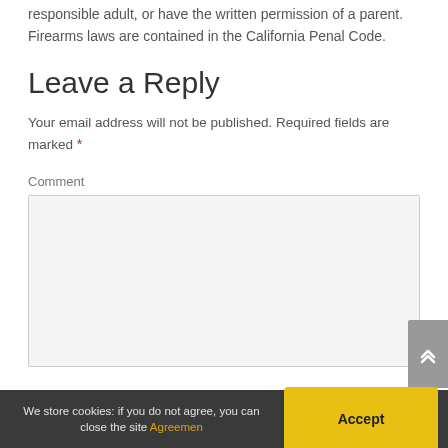then you either need to be accompanied by a parent or a responsible adult, or have the written permission of a parent. Firearms laws are contained in the California Penal Code.
Leave a Reply
Your email address will not be published. Required fields are marked *
Comment
We store cookies: if you do not agree, you can close the site Agreemen   Accept